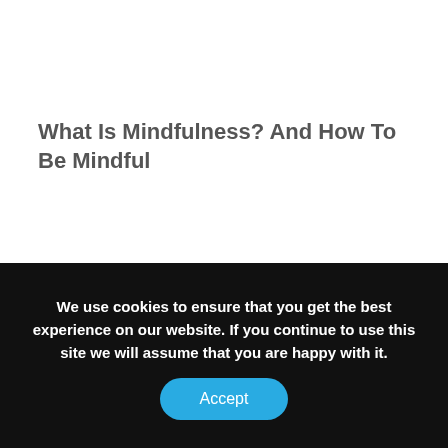What Is Mindfulness? And How To Be Mindful
We use cookies to ensure that you get the best experience on our website. If you continue to use this site we will assume that you are happy with it.